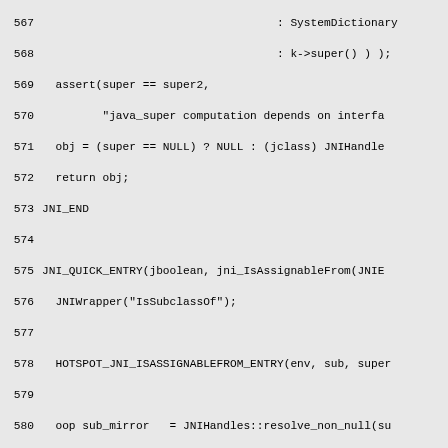Source code listing lines 567-597, showing JNI C++ implementation including JNI_END, JNI_QUICK_ENTRY for jni_IsAssignableFrom, JNIWrapper, HOTSPOT_JNI_ISASSIGNABLEFROM_ENTRY, oop sub_mirror, oop super_mirror, java_lang_Class::is_primitive checks, Klass* sub_klass, Klass* super_klass, jboolean ret, HOTSPOT_JNI_ISASSIGNABLEFROM_RETURN, return ret, JNI_END